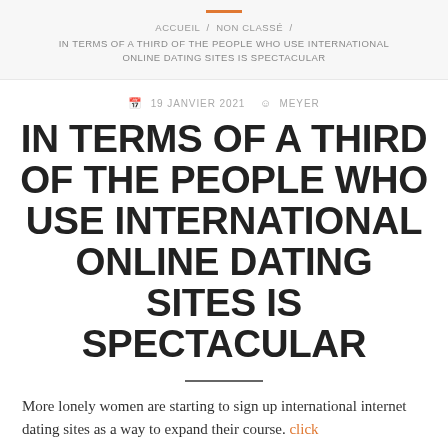ACCUEIL / NON CLASSÉ / IN TERMS OF A THIRD OF THE PEOPLE WHO USE INTERNATIONAL ONLINE DATING SITES IS SPECTACULAR
19 JANVIER 2021   MEYER
IN TERMS OF A THIRD OF THE PEOPLE WHO USE INTERNATIONAL ONLINE DATING SITES IS SPECTACULAR
More lonely women are starting to sign up international internet dating sites as a way to expand their course. click